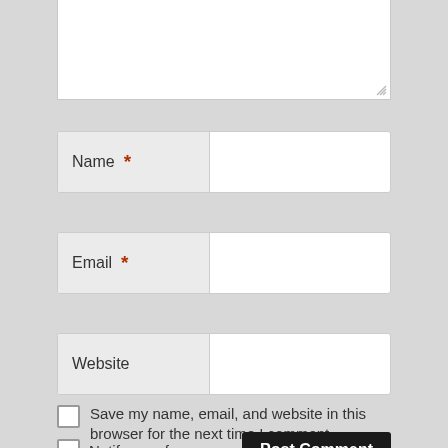[Figure (screenshot): Textarea input box (partially visible at top of page), with resize handle at bottom-right corner]
Name *
Email *
Website
Save my name, email, and website in this browser for the next time I comment.
Notify me of
Post Comment